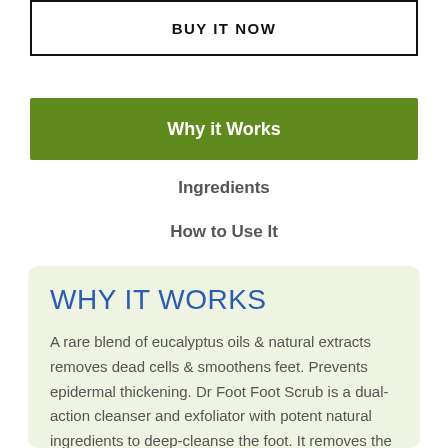BUY IT NOW
Why it Works
Ingredients
How to Use It
WHY IT WORKS
A rare blend of eucalyptus oils & natural extracts removes dead cells & smoothens feet. Prevents epidermal thickening. Dr Foot Foot Scrub is a dual-action cleanser and exfoliator with potent natural ingredients to deep-cleanse the foot. It removes the dead skin cells without making skin dry after use.